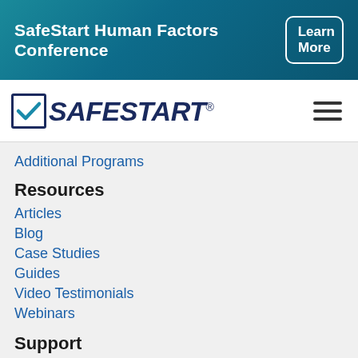[Figure (logo): SafeStart Human Factors Conference banner with 'Learn More' button on teal/dark blue gradient background]
[Figure (logo): SafeStart logo with checkbox checkmark and italic bold text 'SAFESTART' and registered trademark symbol, plus hamburger menu icon]
Additional Programs
Resources
Articles
Blog
Case Studies
Guides
Video Testimonials
Webinars
Support
Conference & Corporate Speakers